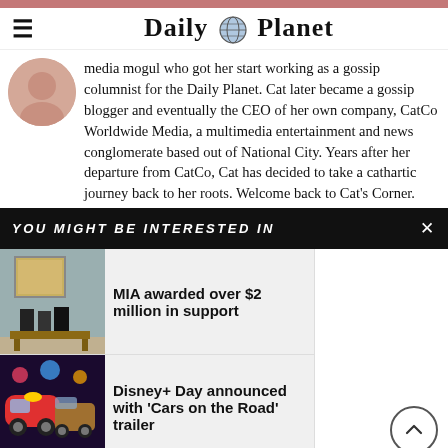Daily Planet
media mogul who got her start working as a gossip columnist for the Daily Planet. Cat later became a gossip blogger and eventually the CEO of her own company, CatCo Worldwide Media, a multimedia entertainment and news conglomerate based out of National City. Years after her departure from CatCo, Cat has decided to take a cathartic journey back to her roots. Welcome back to Cat's Corner.
YOU MIGHT BE INTERESTED IN
MIA awarded over $2 million in support
Disney+ Day announced with 'Cars on the Road' trailer